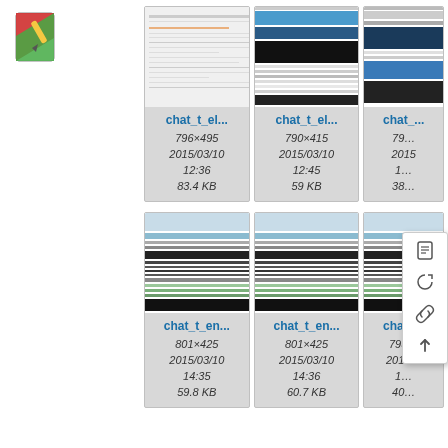[Figure (logo): Red/green bookmark-style application logo in top-left corner]
[Figure (screenshot): File browser grid showing image thumbnails with filenames chat_t_el..., dimensions, dates, and file sizes. Top row: chat_t_el... (796×495, 2015/03/10 12:36, 83.4 KB), chat_t_el... (790×415, 2015/03/10 12:45, 59 KB), chat_... (partial). Bottom row: chat_t_en... (801×425, 2015/03/10 14:35, 59.8 KB), chat_t_en... (801×425, 2015/03/10 14:36, 60.7 KB), chat_... (partial, 793×..., 2015/...). Context menu visible on right with icons for file info, history, link, and upload.]